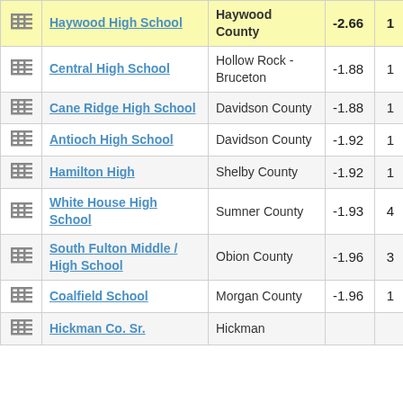|  | School | County | Score | Count |
| --- | --- | --- | --- | --- |
| [icon] | Haywood High School | Haywood County | -2.66 | 1 |
| [icon] | Central High School | Hollow Rock - Bruceton | -1.88 | 1 |
| [icon] | Cane Ridge High School | Davidson County | -1.88 | 1 |
| [icon] | Antioch High School | Davidson County | -1.92 | 1 |
| [icon] | Hamilton High | Shelby County | -1.92 | 1 |
| [icon] | White House High School | Sumner County | -1.93 | 4 |
| [icon] | South Fulton Middle / High School | Obion County | -1.96 | 3 |
| [icon] | Coalfield School | Morgan County | -1.96 | 1 |
| [icon] | Hickman Co. Sr. | Hickman |  |  |